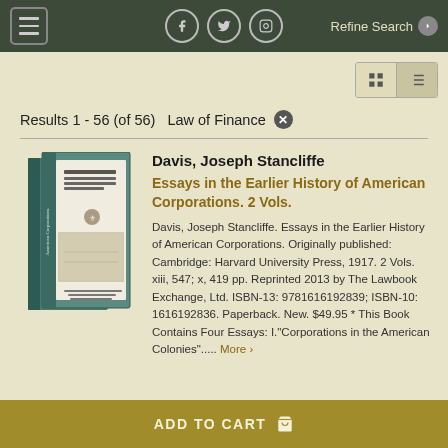Refine Search | Social media icons | Navigation
Results 1 - 56 (of 56)  Law of Finance ✕
Davis, Joseph Stancliffe
Essays in the Earlier History of American Corporations. 2 Vols.
Davis, Joseph Stancliffe. Essays in the Earlier History of American Corporations. Originally published: Cambridge: Harvard University Press, 1917. 2 Vols. xiii, 547; x, 419 pp. Reprinted 2013 by The Lawbook Exchange, Ltd. ISBN-13: 9781616192839; ISBN-10: 1616192836. Paperback. New. $49.95 * This Book Contains Four Essays: I."Corporations in the American Colonies"..... More >
[Figure (illustration): Book cover image showing two volumes of 'Essays in the Earlier History of American Corporations' with dark teal/green spines and a historical illustration on the cover]
ADD TO CART